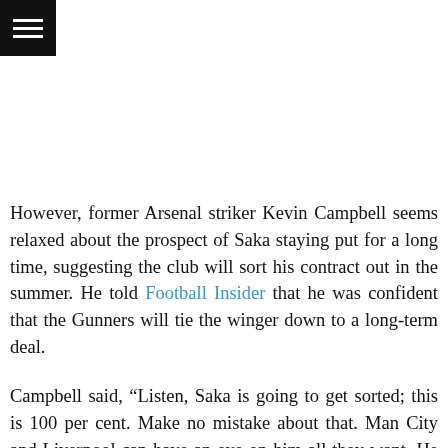[Figure (other): Hamburger menu icon — three horizontal white lines on a black square background]
However, former Arsenal striker Kevin Campbell seems relaxed about the prospect of Saka staying put for a long time, suggesting the club will sort his contract out in the summer. He told Football Insider that he was confident that the Gunners will tie the winger down to a long-term deal.
Campbell said, “Listen, Saka is going to get sorted; this is 100 per cent. Make no mistake about that. Man City and Liverpool can have an eye on him all they want. He is an Arsenal player, and the club are going to do the right